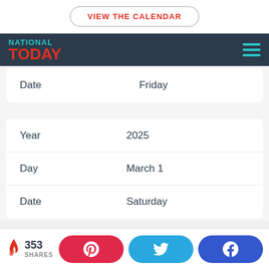VIEW THE CALENDAR
[Figure (logo): National Today logo with teal NATIONAL text and red TODAY text]
| Date | Friday |
| Year | 2025 |
| Day | March 1 |
| Date | Saturday |
353 SHARES